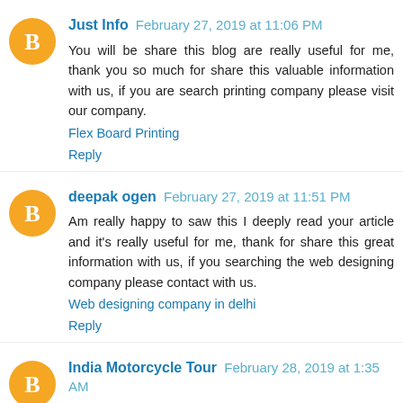Just Info  February 27, 2019 at 11:06 PM
You will be share this blog are really useful for me, thank you so much for share this valuable information with us, if you are search printing company please visit our company.
Flex Board Printing
Reply
deepak ogen  February 27, 2019 at 11:51 PM
Am really happy to saw this I deeply read your article and it's really useful for me, thank for share this great information with us, if you searching the web designing company please contact with us.
Web designing company in delhi
Reply
India Motorcycle Tour  February 28, 2019 at 1:35 AM
Great useful information you will be with us, keep sharing this type valuable information, if you searching the web